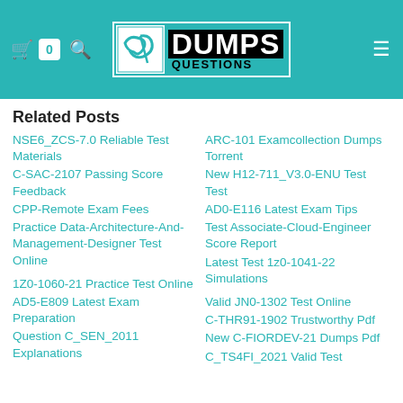[Figure (logo): DumpsQuestions logo with teal background, cart icon showing 0, search icon, and hamburger menu icon]
Related Posts
NSE6_ZCS-7.0 Reliable Test Materials
ARC-101 Examcollection Dumps Torrent
C-SAC-2107 Passing Score Feedback
New H12-711_V3.0-ENU Test Test
CPP-Remote Exam Fees
AD0-E116 Latest Exam Tips
Practice Data-Architecture-And-Management-Designer Test Online
Test Associate-Cloud-Engineer Score Report
Latest Test 1z0-1041-22 Simulations
1Z0-1060-21 Practice Test Online
Valid JN0-1302 Test Online
AD5-E809 Latest Exam Preparation
C-THR91-1902 Trustworthy Pdf
Question C_SEN_2011 Explanations
New C-FIORDEV-21 Dumps Pdf
C_TS4FI_2021 Valid Test